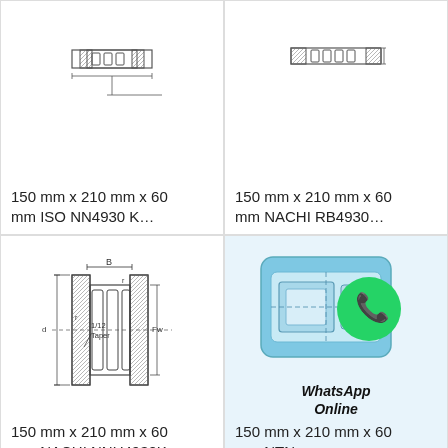[Figure (engineering-diagram): Technical cross-section drawing of cylindrical roller bearing, top view partial]
150 mm x 210 mm x 60 mm ISO NN4930 K…
[Figure (engineering-diagram): Technical cross-section drawing of cylindrical roller bearing, top partial view]
150 mm x 210 mm x 60 mm NACHI RB4930…
[Figure (engineering-diagram): Technical cross-section drawing of cylindrical roller bearing with 1/12 Taper label and dimension lines for B, r, d, Fw]
150 mm x 210 mm x 60 mm NACHI NNU4930K…
[Figure (schematic): Bearing product image with WhatsApp Online overlay icon and green WhatsApp logo]
150 mm x 210 mm x 60 mm NTN…
Chat now
Contact Now